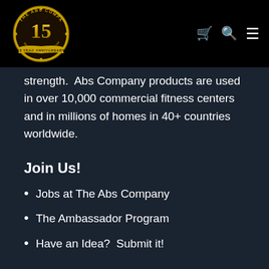The Abs Company — 15 Year Anniversary
strength.  Abs Company products are used in over 10,000 commercial fitness centers and in millions of homes in 40+ countries worldwide.
Join Us!
Jobs at The Abs Company
The Ambassador Program
Have an Idea?  Submit it!